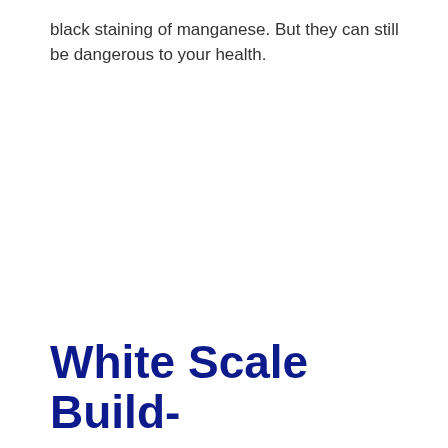black staining of manganese. But they can still be dangerous to your health.
White Scale Build-